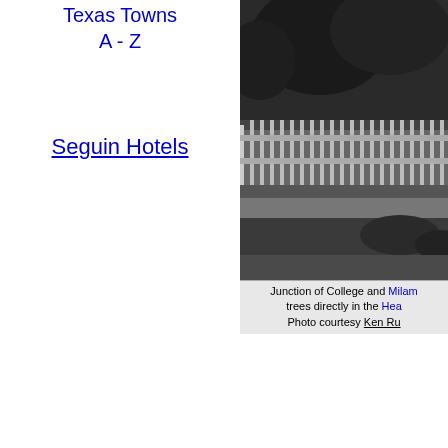Texas Towns A - Z
Seguin Hotels
[Figure (photo): Black and white photograph showing a picket fence and trees at the Junction of College and Milan streets, with greenery and lawn visible]
Junction of College and Milam trees directly in the Hea Photo courtesy Ken Ru
When I hear a ghost story fro become motivated to validate my story and photos of the Sa light and the Mission, Texas ne Sometimes it takes me years t my curiosity, but there hoe alw